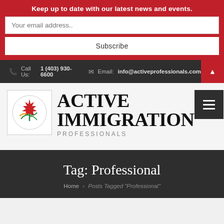Keep up to date with our latest news and events.
Your email address..
Subscribe
Call Us: 1 (403) 930-6600   Email: info@activeprofessionals.com
[Figure (logo): Active Immigration Professionals logo with maple leaf]
ACTIVE IMMIGRATION PROFESSIONALS
Tag: Professional
Home › Posts Tagged "Professional"